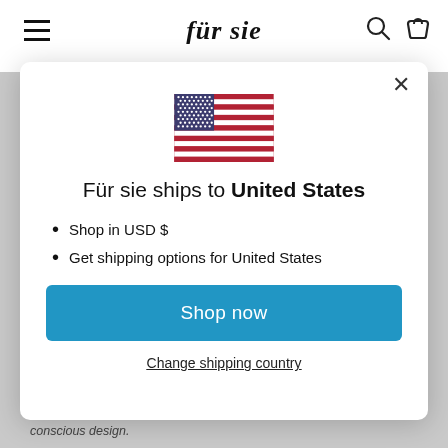für sie
[Figure (illustration): US flag SVG illustration]
Für sie ships to United States
Shop in USD $
Get shipping options for United States
Shop now
Change shipping country
conscious design.